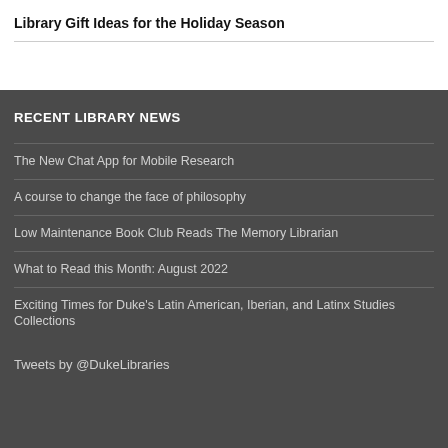Library Gift Ideas for the Holiday Season
RECENT LIBRARY NEWS
The New Chat App for Mobile Research
A course to change the face of philosophy
Low Maintenance Book Club Reads The Memory Librarian
What to Read this Month: August 2022
Exciting Times for Duke's Latin American, Iberian, and Latinx Studies Collections
Tweets by @DukeLibraries